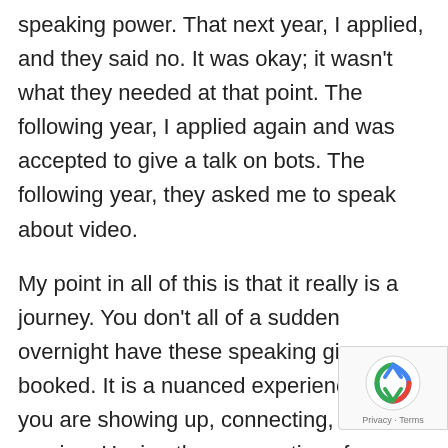speaking power. That next year, I applied, and they said no. It was okay; it wasn't what they needed at that point. The following year, I applied again and was accepted to give a talk on bots. The following year, they asked me to speak about video.
My point in all of this is that it really is a journey. You don't all of a sudden overnight have these speaking gigs booked. It is a nuanced experience where you are showing up, connecting, and serving. Having the perspective of knowing you can help people is key.
Want to find out how you can create your